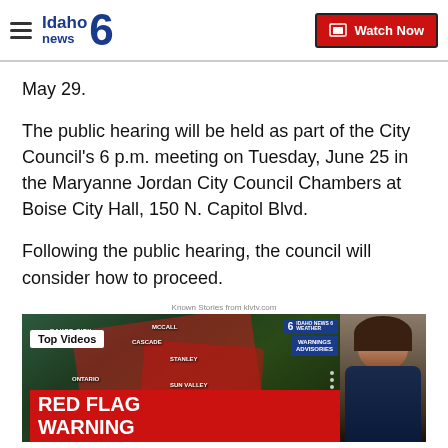Idaho News 6 — Watch Now
May 29.
The public hearing will be held as part of the City Council's 6 p.m. meeting on Tuesday, June 25 in the Maryanne Jordan City Council Chambers at Boise City Hall, 150 N. Capitol Blvd.
Following the public hearing, the council will consider how to proceed.
Known Stories from klvtv.com
[Figure (screenshot): Video thumbnail showing a weather map with red overlays indicating warnings/advisories, a 'Top Videos' badge, 'RED FLAG WARNING' text in red banner, city labels (Baker City, McCall, Cascade, Stanley, Ontario, Sun Valley), and a female news anchor on the right side.]